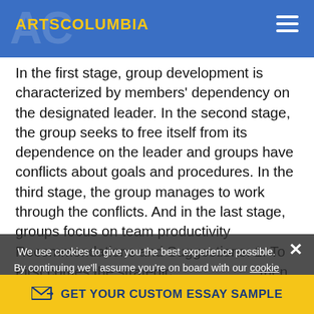ARTSCOLUMBIA
In the first stage, group development is characterized by members' dependency on the designated leader. In the second stage, the group seeks to free itself from its dependence on the leader and groups have conflicts about goals and procedures. In the third stage, the group manages to work through the conflicts. And in the last stage, groups focus on team productivity Recommendations and Suggestions: 1. To create a team, a demand for performance is more important than team-building exercises. You can get a group together and train them in teamwork for weeks but they won't be a team until they have a common understanding of the need to perform.
First comes the strategic then the tasks needed
We use cookies to give you the best experience possible. By continuing we'll assume you're on board with our cookie policy
GET YOUR CUSTOM ESSAY SAMPLE